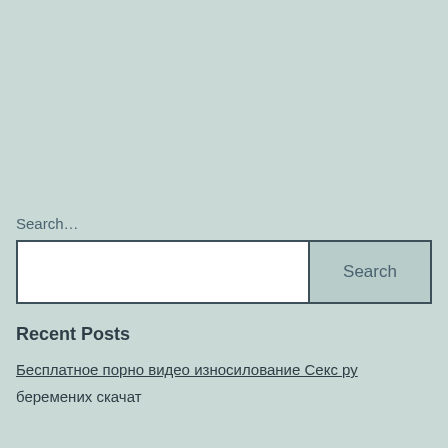Search…
Search
Recent Posts
Бесплатное порно видео износилование Секс ру
беремених скачат